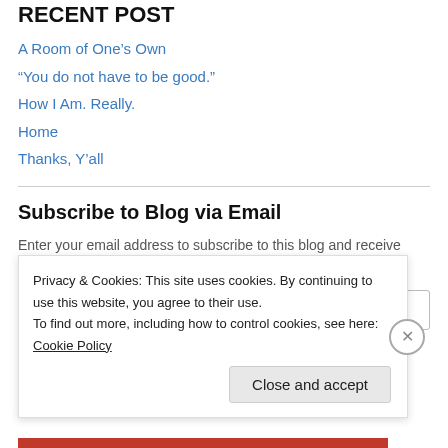RECENT POST (partial)
A Room of One's Own
“You do not have to be good.”
How I Am. Really.
Home
Thanks, Y’all
Subscribe to Blog via Email
Enter your email address to subscribe to this blog and receive notifications of new posts by email.
Enter your email address
Privacy & Cookies: This site uses cookies. By continuing to use this website, you agree to their use.
To find out more, including how to control cookies, see here: Cookie Policy
Close and accept